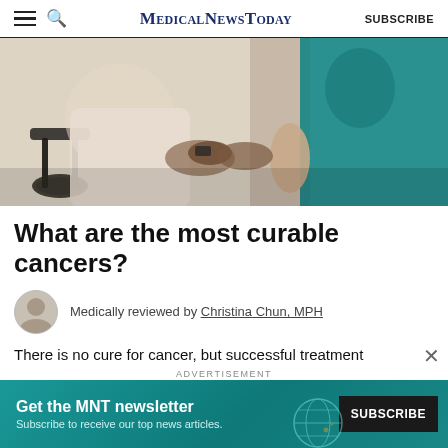MedicalNewsToday  SUBSCRIBE
[Figure (photo): A person in a wheelchair holding hands with a healthcare worker in teal scrubs.]
What are the most curable cancers?
Medically reviewed by Christina Chun, MPH
There is no cure for cancer, but successful treatment
ADVERTISEMENT
Get the MNT newsletter
Subscribe to receive our top news articles.
SUBSCRIBE